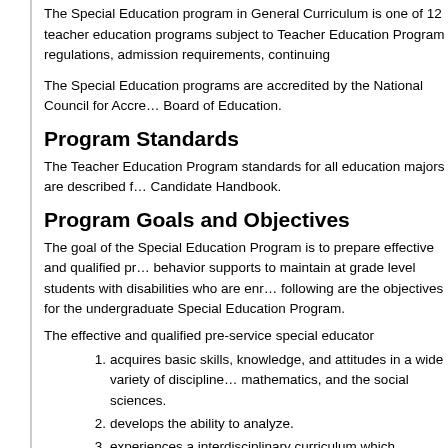The Special Education program in General Curriculum is one of 12 teacher education programs subject to Teacher Education Program regulations, admission requirements, contin…
The Special Education programs are accredited by the National Council for Accre… Board of Education.
Program Standards
The Teacher Education Program standards for all education majors are described f… Candidate Handbook.
Program Goals and Objectives
The goal of the Special Education Program is to prepare effective and qualified pr… behavior supports to maintain at grade level students with disabilities who are enr… following are the objectives for the undergraduate Special Education Program.
The effective and qualified pre-service special educator
acquires basic skills, knowledge, and attitudes in a wide variety of discipline… mathematics, and the social sciences.
develops the ability to analyze.
experiences a interdisciplinary curriculum which emphasized the interrelatio… appropriate and necessary in educational and social settings.
completes an Academic or Professional Concentration (Reading is suggeste… strengthen their overall program of studies and area of specialization.
acquires knowledge and understanding of human growth and development;… administration of the schools; the teaching-learning process; positive beha…